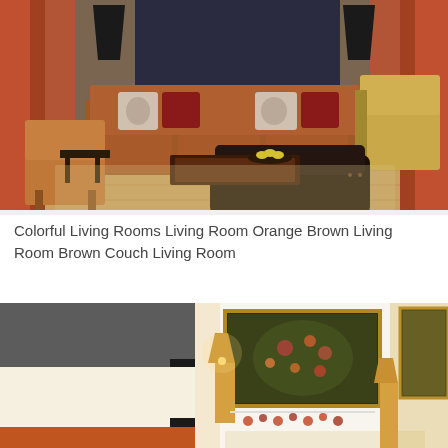[Figure (photo): A colorful living room with orange/brown velvet sofa, patterned throw pillows, two armchairs, a dark leather barrel chair in foreground, coffee table with yellow fruits, tall black lamps, dark navy accent wall, warm orange curtains, and hardwood floors.]
Colorful Living Rooms Living Room Orange Brown Living Room Brown Couch Living Room
[Figure (photo): Left side shows paint color swatches: a dark charcoal gray swatch on top, an off-white/cream swatch in the middle, and a burnt orange/terracotta swatch at the bottom. Right side shows a bedroom or living room interior with a large ornate floral painting on the wall, a lamp with warm light, decorative items hanging on the white wall below the painting, and additional artwork on the right side.]